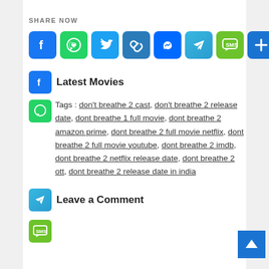SHARE NOW
[Figure (other): Social share buttons row: Facebook, WhatsApp, Twitter, Copy Link, Messenger, Telegram, SMS, More]
[Figure (logo): Facebook icon small square]
Latest Movies
[Figure (logo): WhatsApp icon small square]
Tags : don't breathe 2 cast, don't breathe 2 release date, dont breathe 1 full movie, dont breathe 2 amazon prime, dont breathe 2 full movie netflix, dont breathe 2 full movie youtube, dont breathe 2 imdb, dont breathe 2 netflix release date, dont breathe 2 ott, dont breathe 2 release date in india
[Figure (logo): Telegram icon small square]
Leave a Comment
[Figure (logo): SMS icon small square]
[Figure (other): Back to top button]